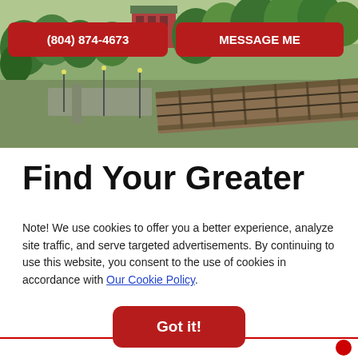[Figure (photo): Aerial/elevated view of an urban area with trees, a red brick building, railroad tracks/bridge, and streets visible below.]
(804) 874-4673
MESSAGE ME
Find Your Greater
Note! We use cookies to offer you a better experience, analyze site traffic, and serve targeted advertisements. By continuing to use this website, you consent to the use of cookies in accordance with Our Cookie Policy.
Got it!